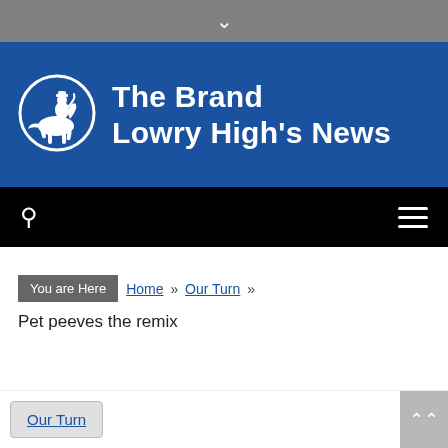The Brand Lowry High's News
[Figure (logo): Lowry High School logo: white circle with cowboy on bucking horse]
You are Here  Home »  Our Turn »  Pet peeves the remix
Our Turn